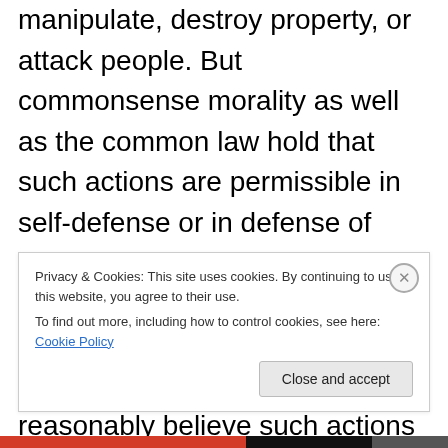manipulate, destroy property, or attack people. But commonsense morality as well as the common law hold that such actions are permissible in self-defense or in defense of others. The basic principle is that you may use deception or violence when you are not the initial aggressor and when you reasonably believe such actions are necessary to protect yourself or others from imminent, severe injury from an aggressor. You may lie to the murderer at the
Privacy & Cookies: This site uses cookies. By continuing to use this website, you agree to their use.
To find out more, including how to control cookies, see here: Cookie Policy